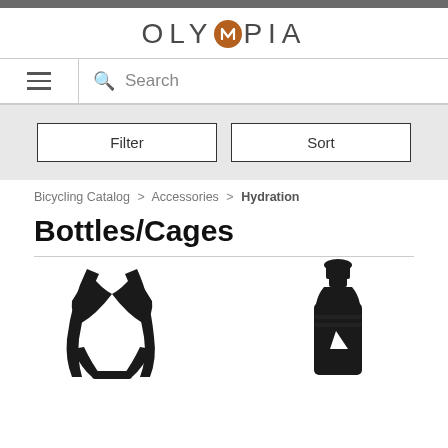[Figure (logo): Olympia brand logo with stylized 'M' in a brown circle]
[Figure (screenshot): Navigation bar with hamburger menu icon and search field with magnifying glass icon and 'Search' placeholder text]
[Figure (screenshot): Filter and Sort buttons on gray background]
Bicycling Catalog > Accessories > Hydration
Bottles/Cages
[Figure (photo): Black bicycle bottle cage product photo]
[Figure (photo): Black water bottle product photo]